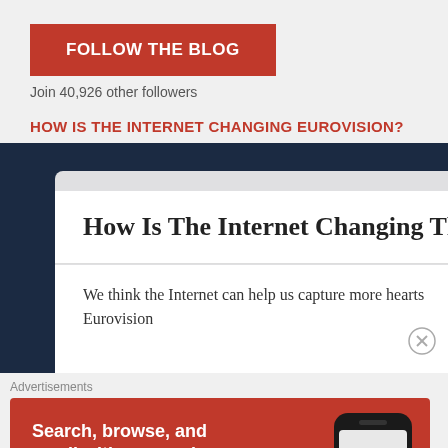FOLLOW THE BLOG
Join 40,926 other followers
HOW IS THE INTERNET CHANGING EUROVISION?
[Figure (screenshot): Browser mockup showing article titled 'How Is The Internet Changing The E...' with partial text 'We think the Internet can help us capture more hearts... Eurovision']
Advertisements
[Figure (infographic): DuckDuckGo advertisement banner: 'Search, browse, and email with more privacy. All in One Free App' with phone graphic and DuckDuckGo logo]